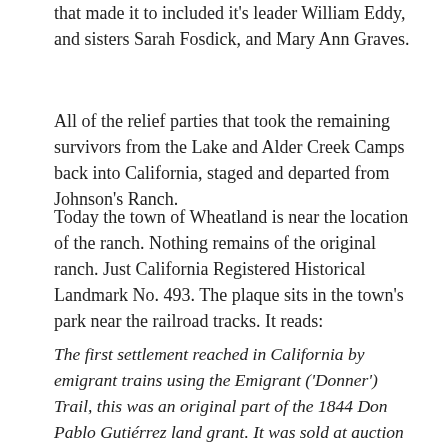that made it to included it's leader William Eddy, and sisters Sarah Fosdick, and Mary Ann Graves.
All of the relief parties that took the remaining survivors from the Lake and Alder Creek Camps back into California, staged and departed from Johnson's Ranch.
Today the town of Wheatland is near the location of the ranch. Nothing remains of the original ranch. Just California Registered Historical Landmark No. 493. The plaque sits in the town's park near the railroad tracks. It reads:
The first settlement reached in California by emigrant trains using the Emigrant ('Donner') Trail, this was an original part of the 1844 Don Pablo Gutiérrez land grant. It was sold at auction to William Johnson in 1845, and in 1849 part of the ranch was set aside as a government reserve-Camp Far West. In 1866, the